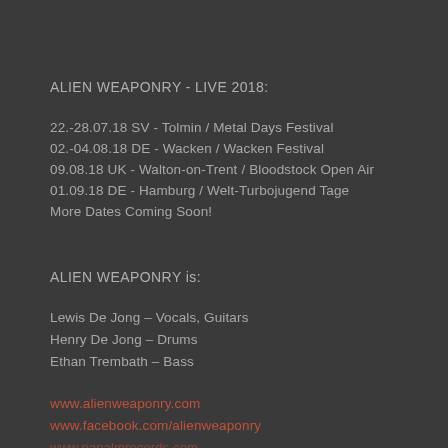ALIEN WEAPONRY - LIVE 2018:
22.-28.07.18 SV - Tolmin / Metal Days Festival
02.-04.08.18 DE - Wacken / Wacken Festival
09.08.18 UK - Walton-on-Trent / Bloodstock Open Air
01.09.18 DE - Hamburg / Welt-Turbojugend Tage
More Dates Coming Soon!
ALIEN WEAPONRY is:
Lewis De Jong – Vocals, Guitars
Henry De Jong – Drums
Ethan Trembath – Bass
www.alienweaponry.com
www.facebook.com/alienweaponry
www.napalmrecords.com